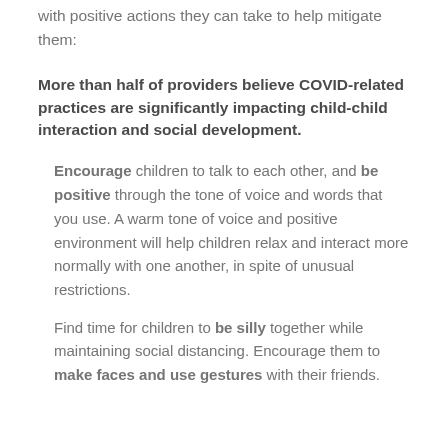with positive actions they can take to help mitigate them:
More than half of providers believe COVID-related practices are significantly impacting child-child interaction and social development.
Encourage children to talk to each other, and be positive through the tone of voice and words that you use. A warm tone of voice and positive environment will help children relax and interact more normally with one another, in spite of unusual restrictions.
Find time for children to be silly together while maintaining social distancing. Encourage them to make faces and use gestures with their friends.